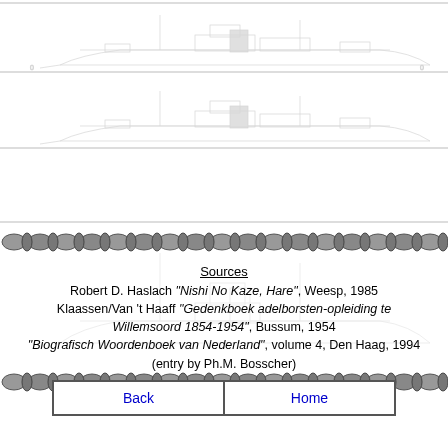[Figure (engineering-diagram): Two ship profile/schematic drawings (side elevation line drawings of naval vessels with masts, funnels, and hull), shown one above the other with horizontal dividing lines, very light/faint rendering]
[Figure (illustration): Horizontal chain link decorative divider bar]
Sources
Robert D. Haslach "Nishi No Kaze, Hare", Weesp, 1985
Klaassen/Van 't Haaff "Gedenkboek adelborsten-opleiding te Willemsoord 1854-1954", Bussum, 1954
"Biografisch Woordenboek van Nederland", volume 4, Den Haag, 1994 (entry by Ph.M. Bosscher)
[Figure (illustration): Horizontal chain link decorative divider bar]
Back | Home